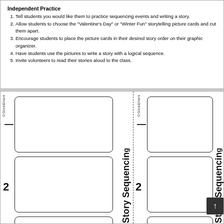Independent Practice
Tell students you would like them to practice sequencing events and writing a story.
Allow students to choose the "Valentine's Day" or "Winter Fun" storytelling picture cards and cut them apart.
Encourage students to place the picture cards in their desired story order on their graphic organizer.
Have students use the pictures to write a story with a logical sequence.
Invite volunteers to read their stories aloud to the class.
[Figure (other): Story Sequencing graphic organizer worksheet with two columns, each containing three numbered empty boxes (1, 2, 3) for placing picture cards, and a dashed vertical line dividing the columns. Each column has 'Story Sequencing' written vertically along the right side.]